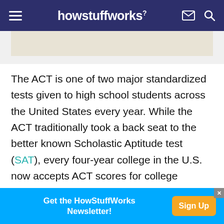howstuffworks
[Figure (other): Light beige/tan advertisement or image placeholder banner]
The ACT is one of two major standardized tests given to high school students across the United States every year. While the ACT traditionally took a back seat to the better known Scholastic Aptitude test (SAT), every four-year college in the U.S. now accepts ACT scores for college entrance, and the percentage of students taking the ACT has gone up year over year – especially in states where most students usually take the SAT [source: USAToday].
[Figure (other): Blue advertisement banner: Get the HowStuffWorks Newsletter! with orange Sign Up button]